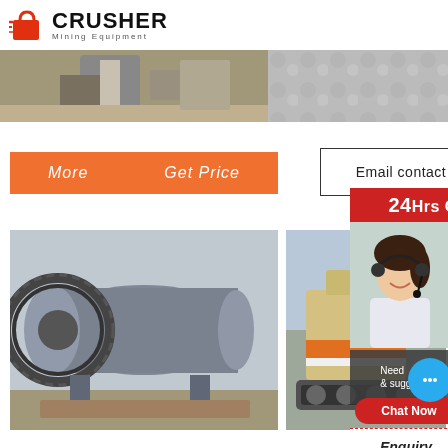[Figure (logo): Crusher Mining Equipment logo with red shopping bag icon]
[Figure (photo): Two photos side by side: left shows mining/crusher equipment outdoors, right shows grey rocky material]
[Figure (infographic): Orange button bar with 'More' and 'Get Price' text]
Email contact
24Hrs Online
[Figure (photo): Customer service representative woman with headset smiling]
[Figure (photo): Ball mill grinding machine in industrial warehouse]
[Figure (photo): Yellow/beige crushing machinery outdoors]
Need & suggestions
Chat Now
Enquiry
limingjlmofen@sina.com